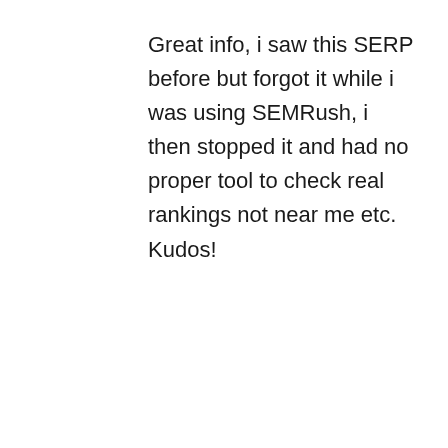Great info, i saw this SERP before but forgot it while i was using SEMRush, i then stopped it and had no proper tool to check real rankings not near me etc. Kudos!
Reply
Glenn Comanda says:
September 23, 2018 at 10:53 am
Thank you! I think a lot of websites are